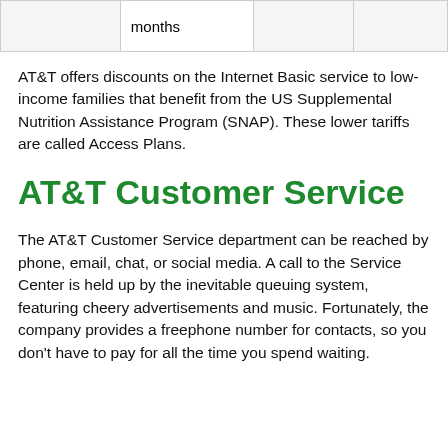|  | months |  |  |
AT&T offers discounts on the Internet Basic service to low-income families that benefit from the US Supplemental Nutrition Assistance Program (SNAP). These lower tariffs are called Access Plans.
AT&T Customer Service
The AT&T Customer Service department can be reached by phone, email, chat, or social media. A call to the Service Center is held up by the inevitable queuing system, featuring cheery advertisements and music. Fortunately, the company provides a freephone number for contacts, so you don't have to pay for all the time you spend waiting.